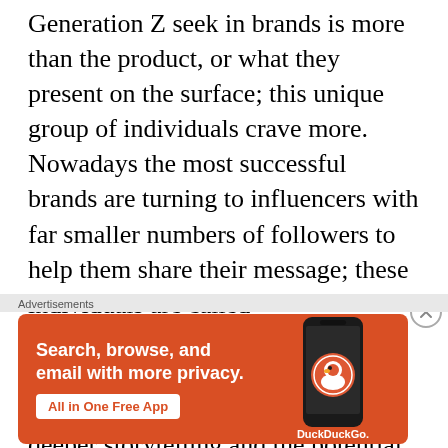Generation Z seek in brands is more than the product, or what they present on the surface; this unique group of individuals crave more. Nowadays the most successful brands are turning to influencers with far smaller numbers of followers to help them share their message; these individuals are called microinfluencers. In return they receive “intangible benefits, like authenticity, a unique point of view, deeper storytelling and the potential of reaching a
[Figure (other): DuckDuckGo advertisement banner: orange background with text 'Search, browse, and email with more privacy. All in One Free App' and DuckDuckGo logo with a phone mockup]